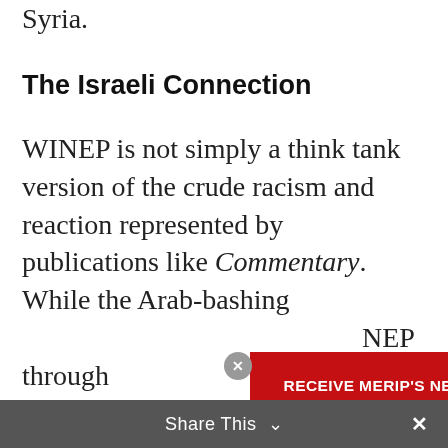Syria.
The Israeli Connection
WINEP is not simply a think tank version of the crude racism and reaction represented by publications like Commentary. While the Arab-bashing … NEP through … r (membe… 2 study groups… eretz (WINEP… and World P… rman (board … y source … icularly those w… Center for Stra… y —
[Figure (screenshot): Newsletter signup modal overlay on red background with email input field and Sign Up button]
Share This ∨